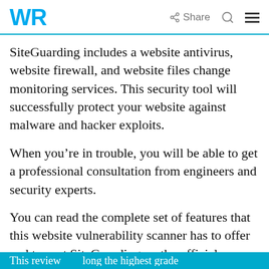WR  Share  Search  Menu
SiteGuarding includes a website antivirus, website firewall, and website files change monitoring services. This security tool will successfully protect your website against malware and hacker exploits.
When you’re in trouble, you will be able to get a professional consultation from engineers and security experts.
You can read the complete set of features that this website vulnerability scanner has to offer and try out SiteGuarding on the official website.
Take a look at the most important features that are packed in this program:
...along the highest grade...